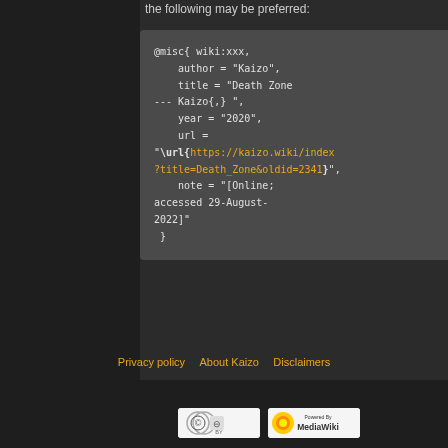the following may be preferred:
@misc{ wiki:xxx,
    author = "Kaizo",
    title = "Death Zone
--- Kaizo{,} ",
    year = "2020",
    url =
"\url{https://kaizo.wiki/index?title=Death_Zone&oldid=2341}",
    note = "[Online;
accessed 29-August-
2022]"
 }
Privacy policy   About Kaizo   Disclaimers